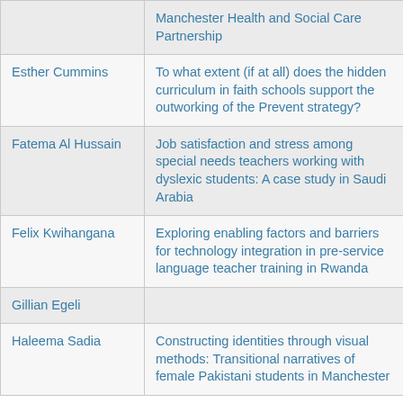| Name | Title |
| --- | --- |
|  | Manchester Health and Social Care Partnership |
| Esther Cummins | To what extent (if at all) does the hidden curriculum in faith schools support the outworking of the Prevent strategy? |
| Fatema Al Hussain | Job satisfaction and stress among special needs teachers working with dyslexic students: A case study in Saudi Arabia |
| Felix Kwihangana | Exploring enabling factors and barriers for technology integration in pre-service language teacher training in Rwanda |
| Gillian Egeli |  |
| Haleema Sadia | Constructing identities through visual methods: Transitional narratives of female Pakistani students in Manchester |